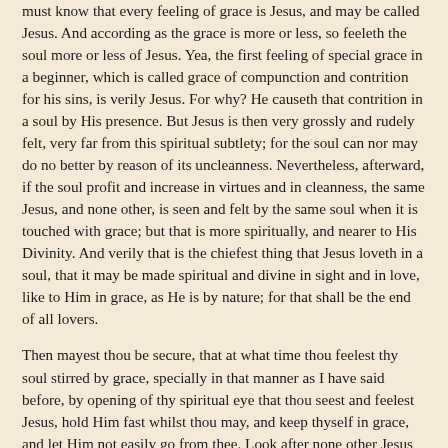must know that every feeling of grace is Jesus, and may be called Jesus. And according as the grace is more or less, so feeleth the soul more or less of Jesus. Yea, the first feeling of special grace in a beginner, which is called grace of compunction and contrition for his sins, is verily Jesus. For why? He causeth that contrition in a soul by His presence. But Jesus is then very grossly and rudely felt, very far from this spiritual subtlety; for the soul can nor may do no better by reason of its uncleanness. Nevertheless, afterward, if the soul profit and increase in virtues and in cleanness, the same Jesus, and none other, is seen and felt by the same soul when it is touched with grace; but that is more spiritually, and nearer to His Divinity. And verily that is the chiefest thing that Jesus loveth in a soul, that it may be made spiritual and divine in sight and in love, like to Him in grace, as He is by nature; for that shall be the end of all lovers.
Then mayest thou be secure, that at what time thou feelest thy soul stirred by grace, specially in that manner as I have said before, by opening of thy spiritual eye that thou seest and feelest Jesus, hold Him fast whilst thou may, and keep thyself in grace, and let Him not easily go from thee. Look after none other Jesus but that same, by feeling of that self-same grace more divinely that it may increase in thee more and more. And be not afraid, though Jesus whom thou feelest be not Jesus as He is in His full Godhead, that thou therefore mayest be deceived if thou trust to that feeling. But